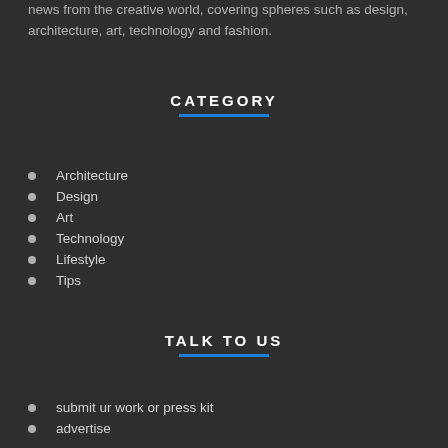news from the creative world, covering spheres such as design, architecture, art, technology and fashion.
CATEGORY
Architecture
Design
Art
Technology
Lifestyle
Tips
TALK TO US
submit ur work or press kit
advertise